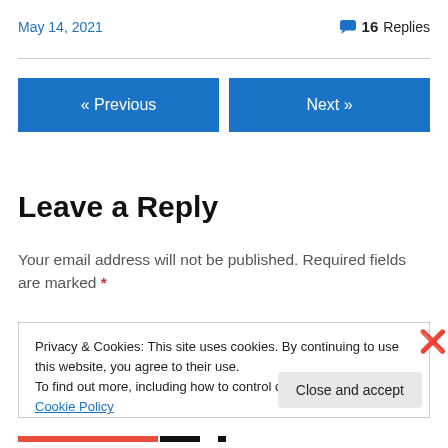May 14, 2021
💬 16 Replies
« Previous
Next »
Leave a Reply
Your email address will not be published. Required fields are marked *
Privacy & Cookies: This site uses cookies. By continuing to use this website, you agree to their use. To find out more, including how to control cookies, see here: Cookie Policy
Close and accept